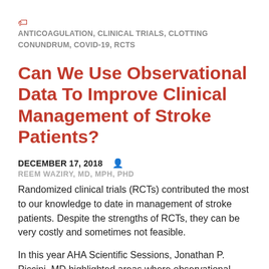ANTICOAGULATION, CLINICAL TRIALS, CLOTTING CONUNDRUM, COVID-19, RCTS
Can We Use Observational Data To Improve Clinical Management of Stroke Patients?
DECEMBER 17, 2018  REEM WAZIRY, MD, MPH, PHD
Randomized clinical trials (RCTs) contributed the most to our knowledge to date in management of stroke patients. Despite the strengths of RCTs, they can be very costly and sometimes not feasible.
In this year AHA Scientific Sessions, Jonathan P. Piccini, MD highlighted areas where observational data have been informative to address difficult clinical questions in stroke and atrial fibrillation.